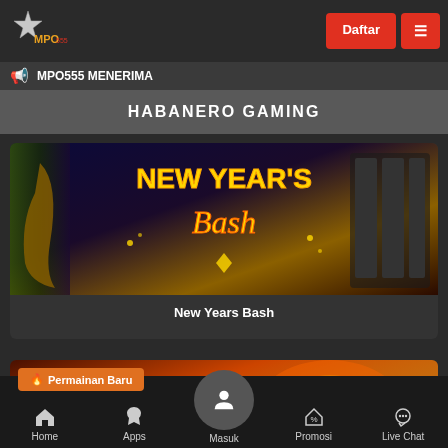[Figure (screenshot): MPO555 gaming website logo with star icon]
Daftar
MPO555 MENERIMA
HABANERO GAMING
[Figure (screenshot): New Years Bash slot game banner image with golden and blue theme]
New Years Bash
[Figure (screenshot): Permainan Baru game card with wizard character and lightning effects]
Permainan Baru
Home  Apps  Masuk  Promosi  Live Chat